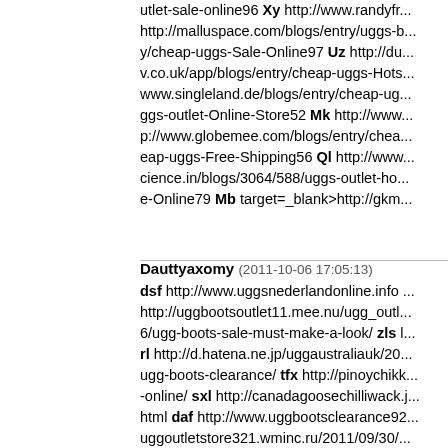utlet-sale-online96 Xy http://www.randyfr... http://malluspace.com/blogs/entry/uggs-b... y/cheap-uggs-Sale-Online97 Uz http://du... v.co.uk/app/blogs/entry/cheap-uggs-Hots... www.singleland.de/blogs/entry/cheap-ug... ggs-outlet-Online-Store52 Mk http://www... p://www.globemee.com/blogs/entry/chea... eap-uggs-Free-Shipping56 Ql http://www... cience.in/blogs/3064/588/uggs-outlet-ho... e-Online79 Mb target=_blank>http://gkm...
Dauttyaxomy (2011-10-06 17:05:13) dsf http://www.uggsnederlandonline.info ... http://uggbootsoutlet11.mee.nu/ugg_outl... 6/ugg-boots-sale-must-make-a-look/ zls l... rl http://d.hatena.ne.jp/uggaustraliauk/20... ugg-boots-clearance/ tfx http://pinoychikk... -online/ sxl http://canadagoosechilliwack.j... html daf http://www.uggbootsclearance92... uggoutletstore321.wminc.ru/2011/09/30/... ejacket926&e_id=6452 erf http://redm.m... p://uggbootscanada11.over-blog.com/art... blog.com/article-ugg-canada-85193615.l... ore.cappuccinomoment.com/2011/09/26...